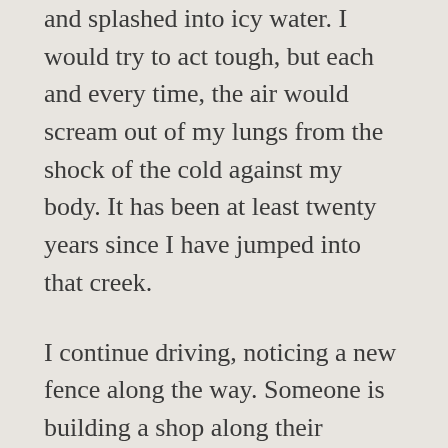and splashed into icy water. I would try to act tough, but each and every time, the air would scream out of my lungs from the shock of the cold against my body. It has been at least twenty years since I have jumped into that creek.
I continue driving, noticing a new fence along the way. Someone is building a shop along their property, and I shake my head, still annoyed that someone had the audacity to build a house there in the first place.
The sound of gravel crunching under my tires as I turn that last corner onto that dirt road travels above the chatter of my kids in the back seat. The dogs are looking out the winder, their